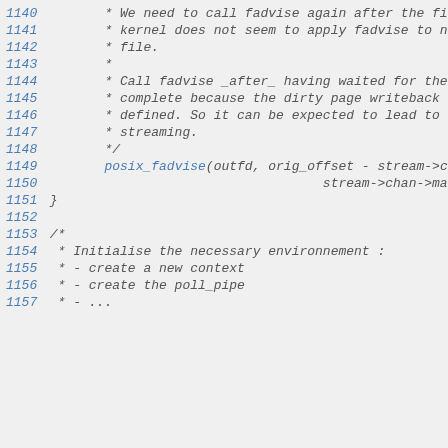1140        * We need to call fadvise again after the file grows because the
1141        * kernel does not seem to apply fadvise to non-existing parts of the
1142        * file.
1143        *
1144        * Call fadvise _after_ having waited for the page writeback to
1145        * complete because the dirty page writeback semantic is not well
1146        * defined. So it can be expected to lead to lower throughput in
1147        * streaming.
1148        */
1149        posix_fadvise(outfd, orig_offset - stream->chan->max_sb_size,
1150                                    stream->chan->max_sb_size, POSIX_FADV_DONTNEED);
1151 }
1152
1153 /*
1154  * Initialise the necessary environnement :
1155  * - create a new context
1156  * - create the poll_pipe
1157  * - ...